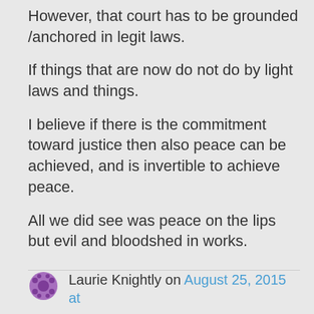However, that court has to be grounded /anchored in legit laws.
If things that are now do not do by light laws and things.
I believe if there is the commitment toward justice then also peace can be achieved, and is invertible to achieve peace.
All we did see was peace on the lips but evil and bloodshed in works.
Laurie Knightly on August 25, 2015 at